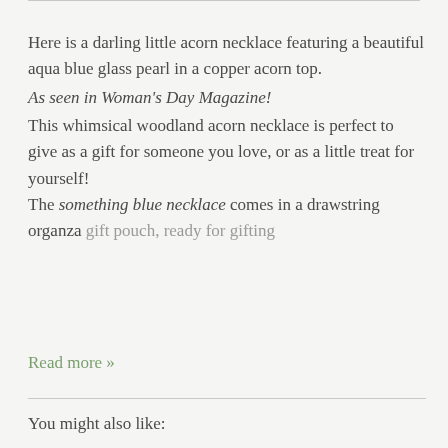Here is a darling little acorn necklace featuring a beautiful aqua blue glass pearl in a copper acorn top. As seen in Woman's Day Magazine! This whimsical woodland acorn necklace is perfect to give as a gift for someone you love, or as a little treat for yourself! The something blue necklace comes in a drawstring organza gift pouch, ready for gifting
Read more »
You might also like: